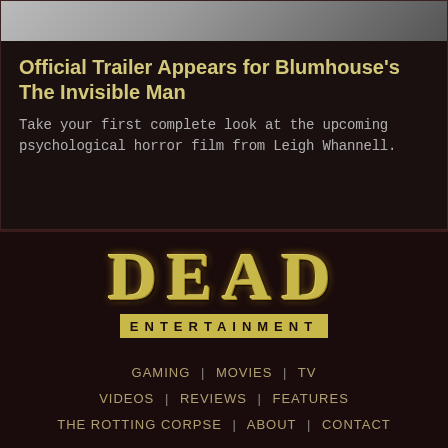[Figure (photo): Partial view of a person's face/shoulders from a movie scene]
Official Trailer Appears for Blumhouse’s The Invisible Man
Take your first complete look at the upcoming psychological horror film from Leigh Whannell.
[Figure (logo): DEAD ENTERTAINMENT logo — large distressed gold DEAD text above ENTERTAINMENT text in a gold bar]
GAMING | MOVIES | TV VIDEOS | REVIEWS | FEATURES THE ROTTING CORPSE | ABOUT | CONTACT